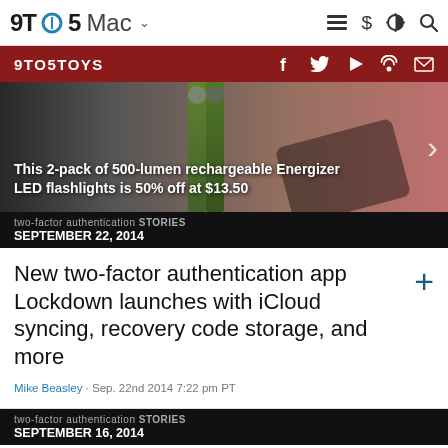9TO5Mac
[Figure (screenshot): 9to5Toys navigation bar with red background and social media icons (Facebook, Twitter, YouTube, Podcast, Email)]
[Figure (photo): Hero image showing Energizer LED flashlights on dark background with overlay text: This 2-pack of 500-lumen rechargeable Energizer LED flashlights is 50% off at $13.50]
This 2-pack of 500-lumen rechargeable Energizer LED flashlights is 50% off at $13.50
two-factor authentication STORIES
SEPTEMBER 22, 2014
New two-factor authentication app Lockdown launches with iCloud syncing, recovery code storage, and more
Mike Beasley · Sep. 22nd 2014 7:22 pm PT
two-factor authentication STORIES
SEPTEMBER 16, 2014
Apple rolling out app specifics passwords for iCloud, required starting on Oct. 1
Mark Gurman · Sep. 16th 2014 6:47 pm PT